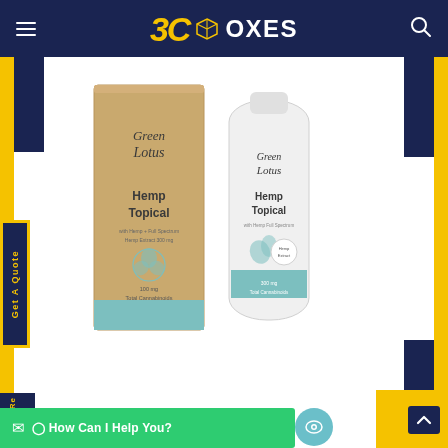BC Boxes — navigation header with logo, hamburger menu, and search icon
[Figure (photo): Green Lotus Hemp Topical product box (kraft cardboard) and white cream tube side by side]
Get A Quote
How Can I Help You?